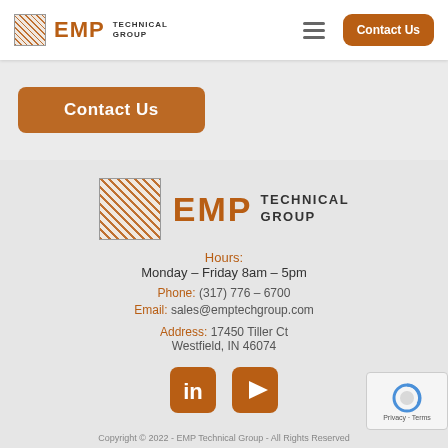EMP TECHNICAL GROUP
Contact Us
[Figure (logo): EMP Technical Group logo with QR code in footer]
Hours: Monday – Friday 8am – 5pm
Phone: (317) 776 – 6700
Email: sales@emptechgroup.com
Address: 17450 Tiller Ct Westfield, IN 46074
[Figure (other): LinkedIn and YouTube social media icons]
Copyright © 2022 - EMP Technical Group - All Rights Reserved